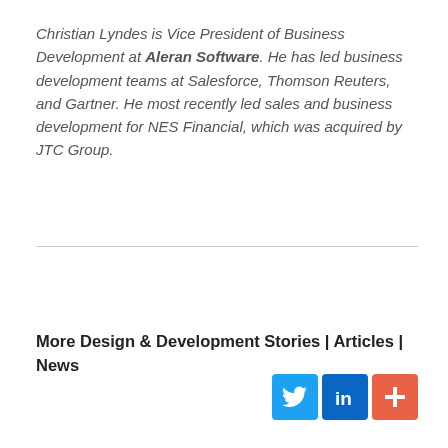Christian Lyndes is Vice President of Business Development at Aleran Software. He has led business development teams at Salesforce, Thomson Reuters, and Gartner. He most recently led sales and business development for NES Financial, which was acquired by JTC Group.
More Design & Development Stories | Articles | News
[Figure (other): Social media share buttons: Twitter (blue bird icon), LinkedIn (blue 'in' icon), and a red plus/share icon]